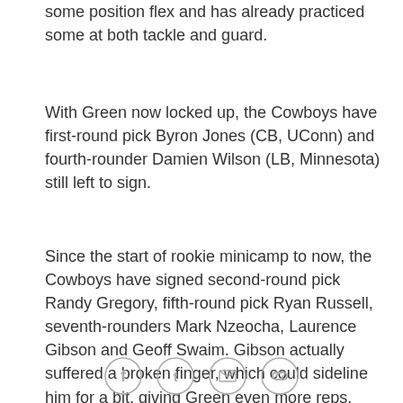some position flex and has already practiced some at both tackle and guard.
With Green now locked up, the Cowboys have first-round pick Byron Jones (CB, UConn) and fourth-rounder Damien Wilson (LB, Minnesota) still left to sign.
Since the start of rookie minicamp to now, the Cowboys have signed second-round pick Randy Gregory, fifth-round pick Ryan Russell, seventh-rounders Mark Nzeocha, Laurence Gibson and Geoff Swaim. Gibson actually suffered a broken finger, which could sideline him for a bit, giving Green even more reps.
[Figure (illustration): Advertisement banner with blue gradient background and bold white text reading GAME DAY GREATNESS]
[Figure (other): Social media share icons: Facebook, Twitter, Email, and Link]